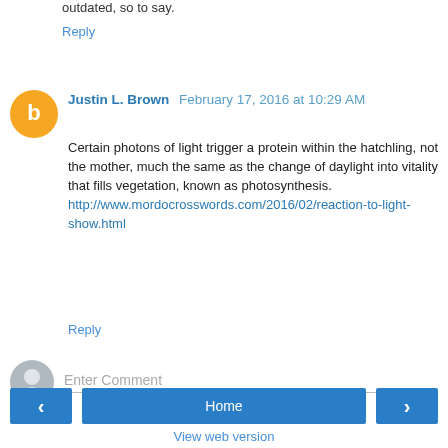outdated, so to say.
Reply
Justin L. Brown  February 17, 2016 at 10:29 AM
Certain photons of light trigger a protein within the hatchling, not the mother, much the same as the change of daylight into vitality that fills vegetation, known as photosynthesis.
http://www.mordocrosswords.com/2016/02/reaction-to-light-show.html
Reply
Enter Comment
Home
View web version